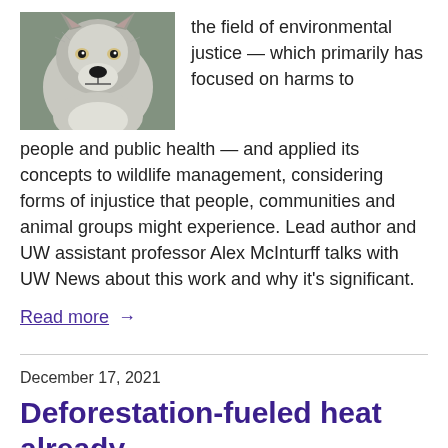[Figure (photo): Close-up photo of a wolf with grey and white fur]
the field of environmental justice — which primarily has focused on harms to people and public health — and applied its concepts to wildlife management, considering forms of injustice that people, communities and animal groups might experience. Lead author and UW assistant professor Alex McInturff talks with UW News about this work and why it's significant.
Read more →
December 17, 2021
Deforestation-fueled heat already